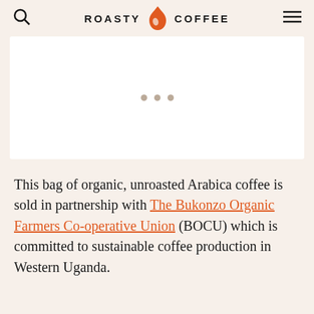ROASTY COFFEE
[Figure (photo): White image placeholder with three dots indicating an image carousel]
This bag of organic, unroasted Arabica coffee is sold in partnership with The Bukonzo Organic Farmers Co-operative Union (BOCU) which is committed to sustainable coffee production in Western Uganda.